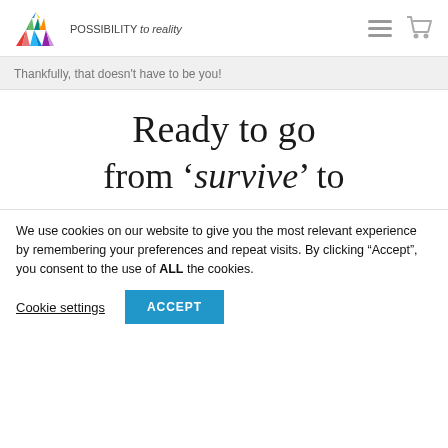POSSIBILITY to reality
Thankfully, that doesn't have to be you!
Ready to go from ‘survive’ to
We use cookies on our website to give you the most relevant experience by remembering your preferences and repeat visits. By clicking “Accept”, you consent to the use of ALL the cookies.
Cookie settings  ACCEPT